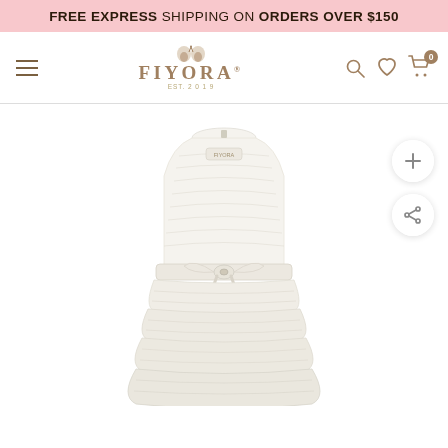FREE EXPRESS SHIPPING ON ORDERS OVER $150
[Figure (logo): Fiyora brand logo with butterfly icon above stylized serif text FIYORA]
[Figure (photo): White/cream girls tiered ruffle dress with lace bodice and satin bow at waist, shown on white background]